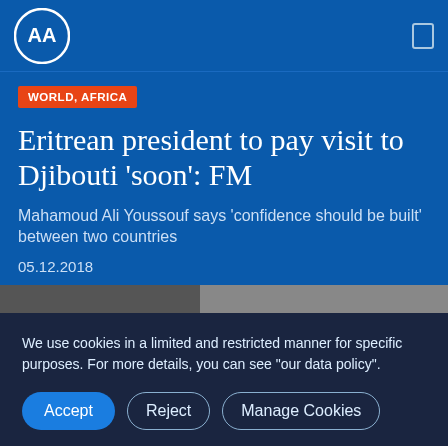AA (Anadolu Agency) logo and navigation
WORLD, AFRICA
Eritrean president to pay visit to Djibouti 'soon': FM
Mahamoud Ali Youssouf says 'confidence should be built' between two countries
05.12.2018
We use cookies in a limited and restricted manner for specific purposes. For more details, you can see "our data policy".
Accept | Reject | Manage Cookies